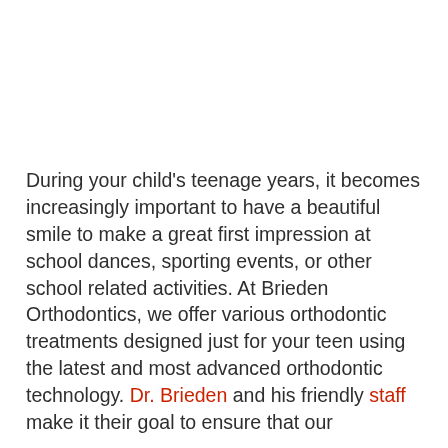During your child's teenage years, it becomes increasingly important to have a beautiful smile to make a great first impression at school dances, sporting events, or other school related activities. At Brieden Orthodontics, we offer various orthodontic treatments designed just for your teen using the latest and most advanced orthodontic technology. Dr. Brieden and his friendly staff make it their goal to ensure that our